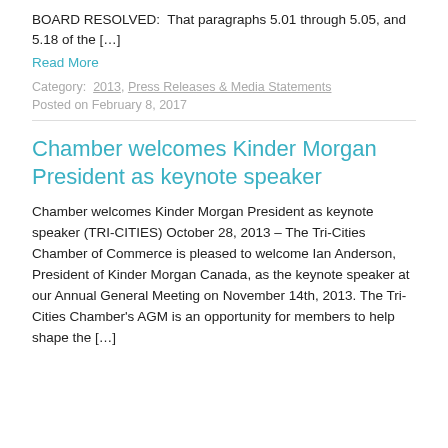BOARD RESOLVED:  That paragraphs 5.01 through 5.05, and 5.18 of the […]
Read More
Category: 2013, Press Releases & Media Statements
Posted on February 8, 2017
Chamber welcomes Kinder Morgan President as keynote speaker
Chamber welcomes Kinder Morgan President as keynote speaker (TRI-CITIES) October 28, 2013 – The Tri-Cities Chamber of Commerce is pleased to welcome Ian Anderson, President of Kinder Morgan Canada, as the keynote speaker at our Annual General Meeting on November 14th, 2013. The Tri-Cities Chamber's AGM is an opportunity for members to help shape the […]